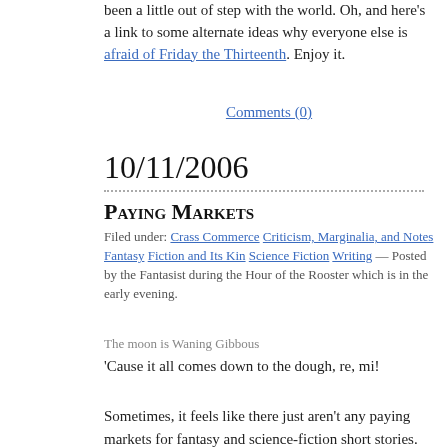been a little out of step with the world. Oh, and here's a link to some alternate ideas why everyone else is afraid of Friday the Thirteenth. Enjoy it.
Comments (0)
10/11/2006
Paying Markets
Filed under: Crass Commerce Criticism, Marginalia, and Notes Fantasy Fiction and Its Kin Science Fiction Writing — Posted by the Fantasist during the Hour of the Rooster which is in the early evening.
The moon is Waning Gibbous
'Cause it all comes down to the dough, re, mi!
Sometimes, it feels like there just aren't any paying markets for fantasy and science-fiction short stories. Of